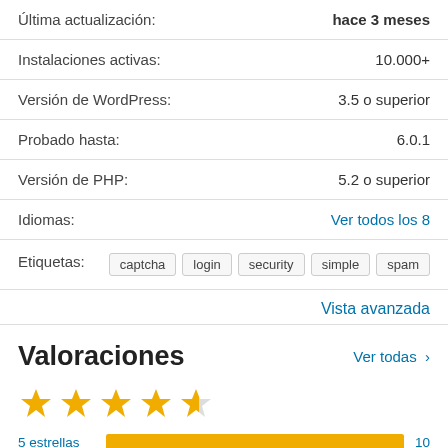Última actualización: hace 3 meses
Instalaciones activas: 10.000+
Versión de WordPress: 3.5 o superior
Probado hasta: 6.0.1
Versión de PHP: 5.2 o superior
Idiomas: Ver todos los 8
Etiquetas: captcha login security simple spam
Vista avanzada
Valoraciones
Ver todas >
[Figure (other): 4.5 out of 5 stars rating display]
5 estrellas 10
4 estrellas 0